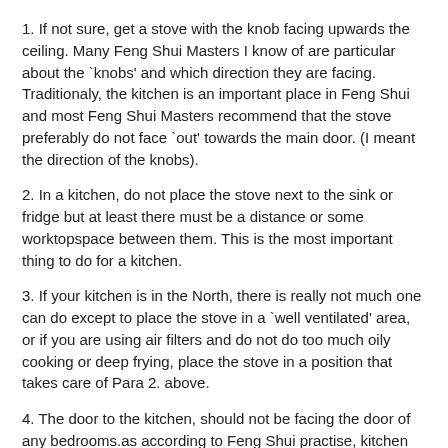1. If not sure, get a stove with the knob facing upwards the ceiling. Many Feng Shui Masters I know of are particular about the `knobs' and which direction they are facing. Traditionaly, the kitchen is an important place in Feng Shui and most Feng Shui Masters recommend that the stove preferably do not face `out' towards the main door. (I meant the direction of the knobs).
2. In a kitchen, do not place the stove next to the sink or fridge but at least there must be a distance or some worktopspace between them. This is the most important thing to do for a kitchen.
3. If your kitchen is in the North, there is really not much one can do except to place the stove in a `well ventilated' area, or if you are using air filters and do not do too much oily cooking or deep frying, place the stove in a position that takes care of Para 2. above.
4. The door to the kitchen, should not be facing the door of any bedrooms.as according to Feng Shui practise, kitchen has knives and is `bad' for someone staying in the bedrooms. In such a situation, try to close the bedroom door everytime.
Q. I was told that the back part of a toilet, (the water tank